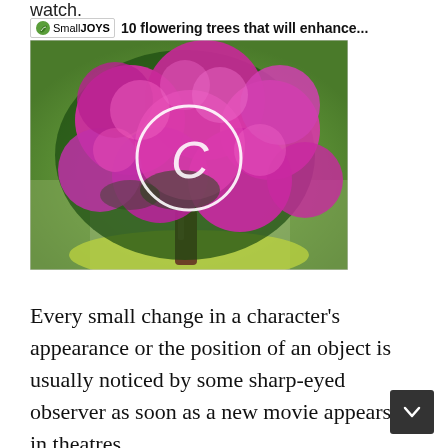watch.
SmallJOYS   10 flowering trees that will enhance...
[Figure (photo): A large flowering tree covered in bright pink/magenta blossoms (likely a crape myrtle), with a white circle play-button overlay in the center, set against a blurred green background.]
Every small change in a character's appearance or the position of an object is usually noticed by some sharp-eyed observer as soon as a new movie appears in theatres.